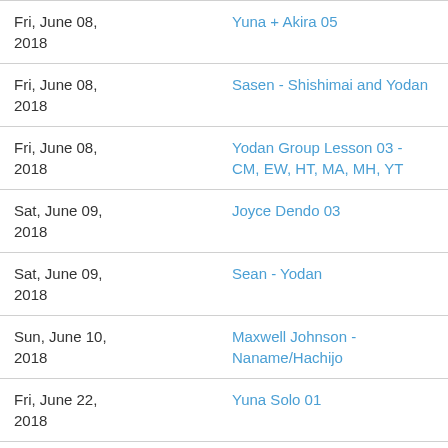| Date | Title |
| --- | --- |
| Fri, June 08, 2018 | Yuna + Akira 05 |
| Fri, June 08, 2018 | Sasen - Shishimai and Yodan |
| Fri, June 08, 2018 | Yodan Group Lesson 03 - CM, EW, HT, MA, MH, YT |
| Sat, June 09, 2018 | Joyce Dendo 03 |
| Sat, June 09, 2018 | Sean - Yodan |
| Sun, June 10, 2018 | Maxwell Johnson - Naname/Hachijo |
| Fri, June 22, 2018 | Yuna Solo 01 |
| Sat, June 23, 2018 | Joyce Dendo 04 |